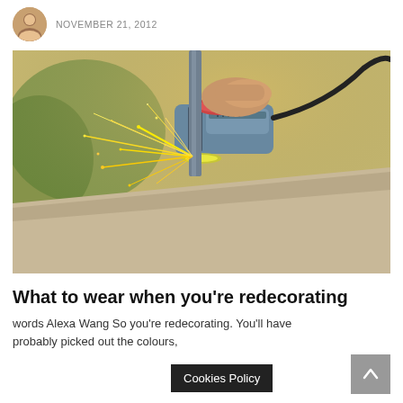NOVEMBER 21, 2012
[Figure (photo): Close-up photo of a person using an angle grinder on a concrete surface, with bright sparks flying outward against a blurred green outdoor background.]
What to wear when you're redecorating
words Alexa Wang So you're redecorating. You'll have probably picked out the colours,
Cookies Policy